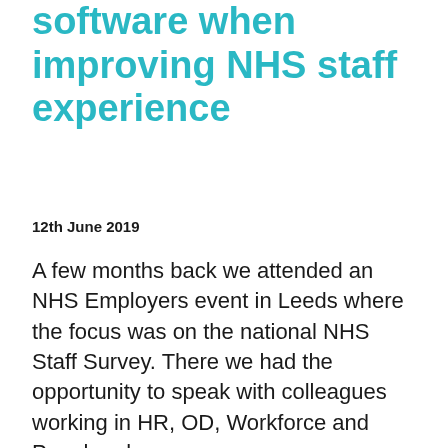software when improving NHS staff experience
12th June 2019
A few months back we attended an NHS Employers event in Leeds where the focus was on the national NHS Staff Survey. There we had the opportunity to speak with colleagues working in HR, OD, Workforce and People roles